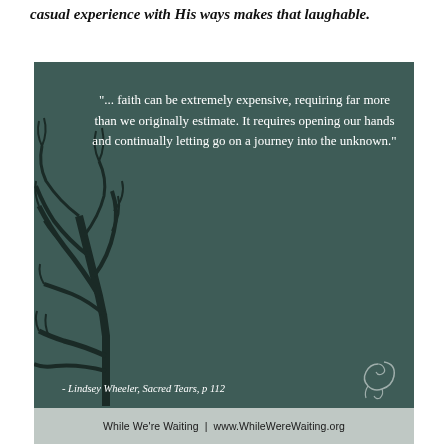casual experience with His ways makes that laughable.
[Figure (illustration): Quote graphic with dark teal background, bare tree silhouette on left, white serif quote text reading: "... faith can be extremely expensive, requiring far more than we originally estimate. It requires opening our hands and continually letting go on a journey into the unknown." Attribution in italic script: - Lindsey Wheeler, Sacred Tears, p 112. Bottom bar with text: While We're Waiting | www.WhileWereWaiting.org]